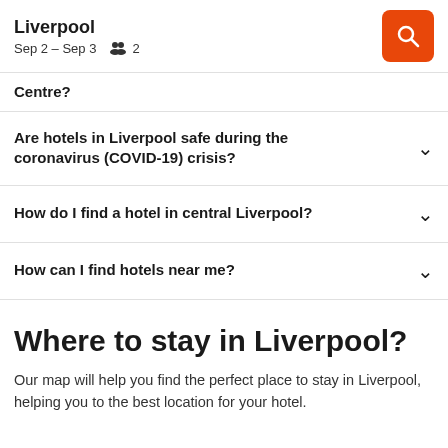Liverpool
Sep 2 – Sep 3   2
Centre?
Are hotels in Liverpool safe during the coronavirus (COVID-19) crisis?
How do I find a hotel in central Liverpool?
How can I find hotels near me?
Where to stay in Liverpool?
Our map will help you find the perfect place to stay in Liverpool, helping you to the best location for your hotel.